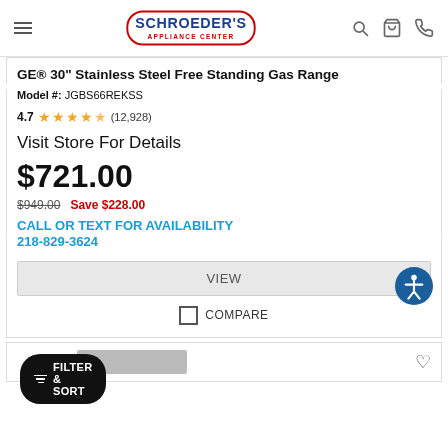Schroeder's Appliance Center
GE® 30" Stainless Steel Free Standing Gas Range
Model #: JGBS66REKSS
4.7 (12,928)
Visit Store For Details
$721.00
$949.00  Save $228.00
CALL OR TEXT FOR AVAILABILITY
218-829-3624
VIEW
COMPARE
FILTER & SORT